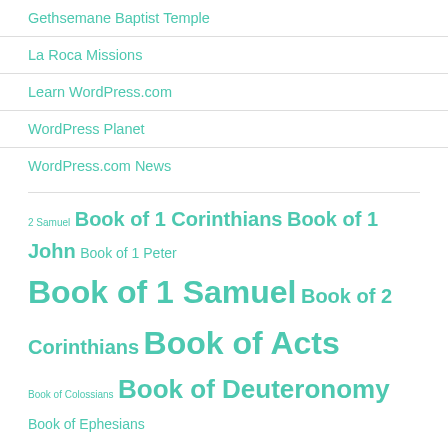Gethsemane Baptist Temple
La Roca Missions
Learn WordPress.com
WordPress Planet
WordPress.com News
2 Samuel Book of 1 Corinthians Book of 1 John Book of 1 Peter Book of 1 Samuel Book of 2 Corinthians Book of Acts Book of Colossians Book of Deuteronomy Book of Ephesians Book of Exodus Book of Ezekiel Book of Galatians Book of Genesis Book of Hebrews Book of Isaiah